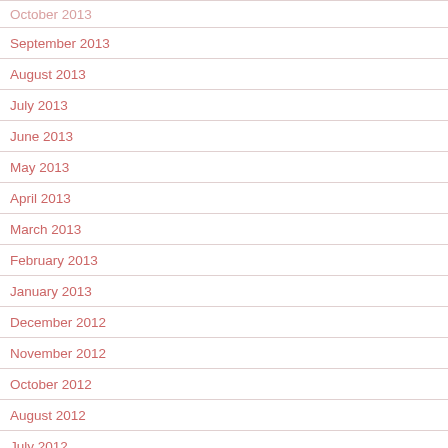September 2013
August 2013
July 2013
June 2013
May 2013
April 2013
March 2013
February 2013
January 2013
December 2012
November 2012
October 2012
August 2012
July 2012
June 2012